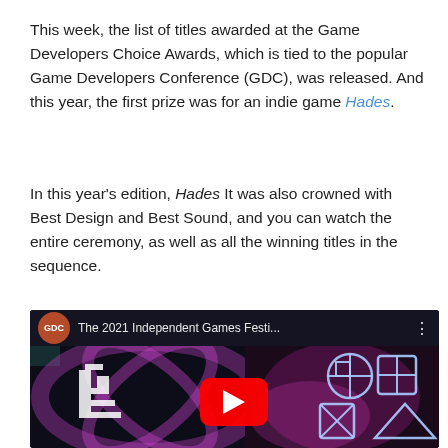This week, the list of titles awarded at the Game Developers Choice Awards, which is tied to the popular Game Developers Conference (GDC), was released. And this year, the first prize was for an indie game Hades.
In this year's edition, Hades It was also crowned with Best Design and Best Sound, and you can watch the entire ceremony, as well as all the winning titles in the sequence.
[Figure (screenshot): YouTube video thumbnail for 'The 2021 Independent Games Festi...' from GDC channel, showing a dark background with colorful neon GDC logos and indie game festival graphics, with a red YouTube play button in the center.]